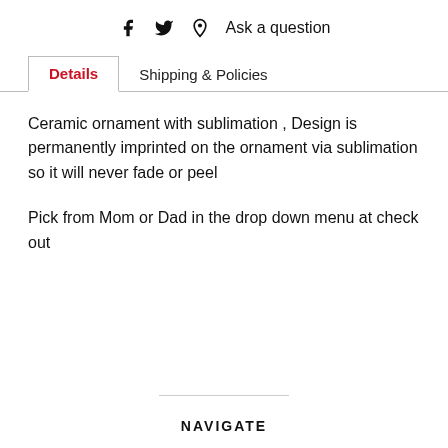[Facebook icon] [Twitter icon] [Pinterest icon] Ask a question
Details  |  Shipping & Policies
Ceramic ornament with sublimation , Design is permanently imprinted on the ornament via sublimation so it will never fade or peel
Pick from Mom or Dad in the drop down menu at check out
NAVIGATE